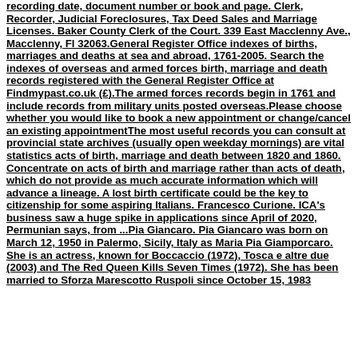recording date, document number or book and page. Clerk, Recorder, Judicial Foreclosures, Tax Deed Sales and Marriage Licenses. Baker County Clerk of the Court. 339 East Macclenny Ave., Macclenny, Fl 32063.General Register Office indexes of births, marriages and deaths at sea and abroad, 1761-2005. Search the indexes of overseas and armed forces birth, marriage and death records registered with the General Register Office at Findmypast.co.uk (£).The armed forces records begin in 1761 and include records from military units posted overseas.Please choose whether you would like to book a new appointment or change/cancel an existing appointmentThe most useful records you can consult at provincial state archives (usually open weekday mornings) are vital statistics acts of birth, marriage and death between 1820 and 1860. Concentrate on acts of birth and marriage rather than acts of death, which do not provide as much accurate information which will advance a lineage. A lost birth certificate could be the key to citizenship for some aspiring Italians. Francesco Curione. ICA's business saw a huge spike in applications since April of 2020, Permunian says, from ...Pia Giancaro. Pia Giancaro was born on March 12, 1950 in Palermo, Sicily, Italy as Maria Pia Giamporcaro. She is an actress, known for Boccaccio (1972), Tosca e altre due (2003) and The Red Queen Kills Seven Times (1972). She has been married to Sforza Marescotto Ruspoli since October 15, 1983